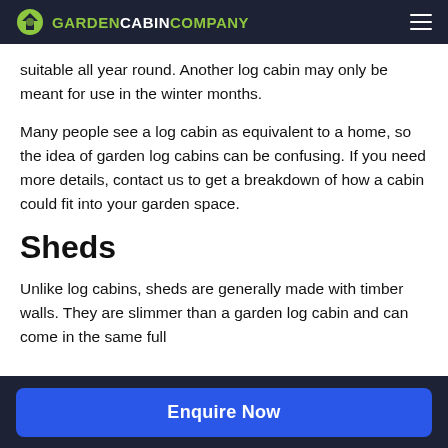GARDEN CABIN COMPANY
suitable all year round. Another log cabin may only be meant for use in the winter months.
Many people see a log cabin as equivalent to a home, so the idea of garden log cabins can be confusing. If you need more details, contact us to get a breakdown of how a cabin could fit into your garden space.
Sheds
Unlike log cabins, sheds are generally made with timber walls. They are slimmer than a garden log cabin and can come in the same full
Enquire Now